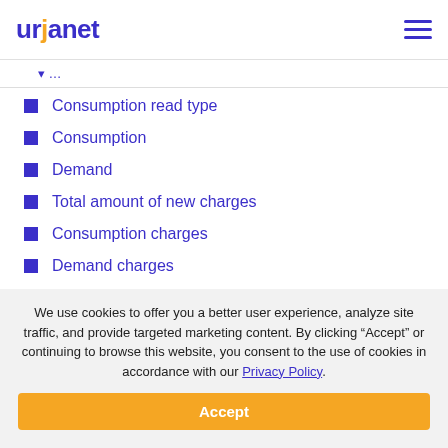urjanet
Consumption read type
Consumption
Demand
Total amount of new charges
Consumption charges
Demand charges
Tax charges
We use cookies to offer you a better user experience, analyze site traffic, and provide targeted marketing content. By clicking “Accept” or continuing to browse this website, you consent to the use of cookies in accordance with our Privacy Policy.
Accept